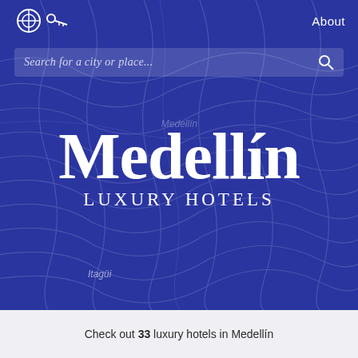[Figure (screenshot): App screenshot showing a dark blue map background of Medellín city with topographic lines]
About
Search for a city or place...
Medellín
Luxury Hotels
Itagüi
Check out 33 luxury hotels in Medellín